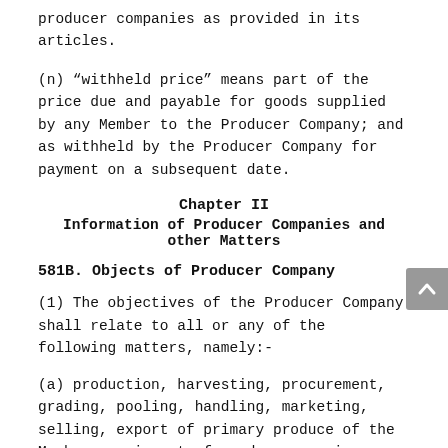producer companies as provided in its articles.
(n) “withheld price” means part of the price due and payable for goods supplied by any Member to the Producer Company; and as withheld by the Producer Company for payment on a subsequent date.
Chapter II
Information of Producer Companies and other Matters
581B. Objects of Producer Company
(1) The objectives of the Producer Company shall relate to all or any of the following matters, namely:-
(a) production, harvesting, procurement, grading, pooling, handling, marketing, selling, export of primary produce of the Members or import of goods or services